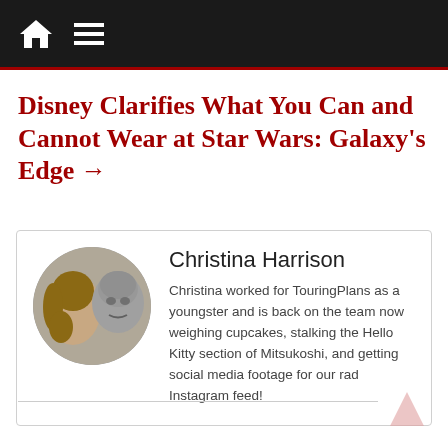Navigation bar with home icon and menu icon
Disney Clarifies What You Can and Cannot Wear at Star Wars: Galaxy's Edge →
[Figure (photo): Circular profile photo of Christina Harrison posing with a stone statue character]
Christina Harrison
Christina worked for TouringPlans as a youngster and is back on the team now weighing cupcakes, stalking the Hello Kitty section of Mitsukoshi, and getting social media footage for our rad Instagram feed!